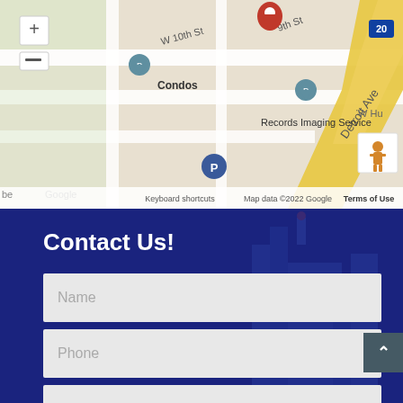[Figure (map): Google Maps screenshot showing streets including W 10th St, 9th St, Detroit Ave, with map markers for Condos, Records Imaging Service, and a parking location. Shows Google logo, keyboard shortcuts, map data 2022 Google, Terms of Use labels.]
Contact Us!
Name
Phone
Email Address
Service Requested